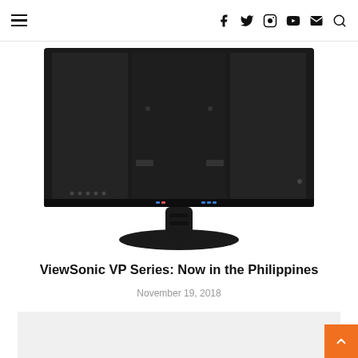Navigation bar with hamburger menu and social icons: f (Facebook), Twitter, Instagram, YouTube, Mail, Search
[Figure (photo): Rear view of a ViewSonic monitor on a stand, showing the back panel with ports and the circular base, against a white background.]
ViewSonic VP Series: Now in the Philippines
November 19, 2018
[Figure (photo): Partial grey/white image area at the bottom of the page, content not visible.]